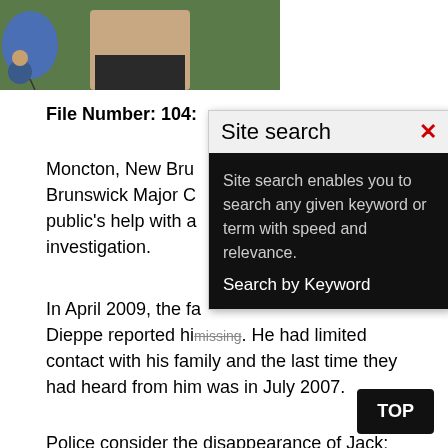[Figure (photo): Partial photo of a person standing outdoors, with a blue balloon visible on the left side. The image is cropped at the top.]
File Number: 104…
Moncton, New Bru… Brunswick Major C… public's help with a… investigation.
In April 2009, the fa… Dieppe reported hi… missing. He had limited contact with his family and the last time they had heard from him was in July 2007.
Police consider the disappearance of Jack…
[Figure (screenshot): Site search modal dialog overlay. Header shows 'Site search' in black text with a red X close button. Body on black background reads: 'Site search enables you to search any given keyword or term with speed and relevance. Search by Keyword']